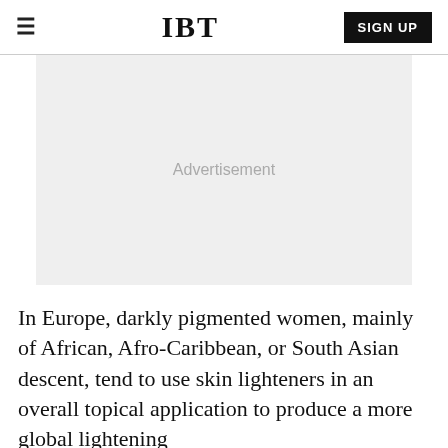IBT
[Figure (other): Advertisement placeholder box with grey background]
In Europe, darkly pigmented women, mainly of African, Afro-Caribbean, or South Asian descent, tend to use skin lighteners in an overall topical application to produce a more global lightening